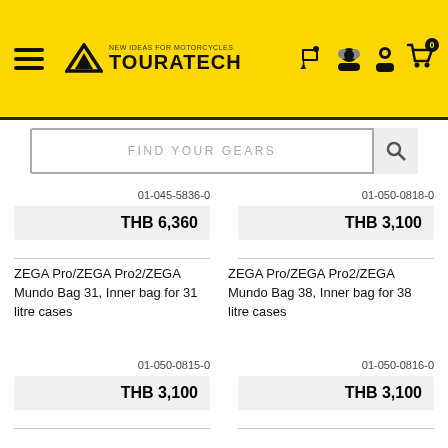[Figure (screenshot): Touratech website header with logo, hamburger menu, navigation icons, and search bar]
01-045-5836-0
THB 6,360
01-050-0818-0
THB 3,100
ZEGA Pro/ZEGA Pro2/ZEGA Mundo Bag 31, Inner bag for 31 litre cases
ZEGA Pro/ZEGA Pro2/ZEGA Mundo Bag 38, Inner bag for 38 litre cases
01-050-0815-0
THB 3,100
01-050-0816-0
THB 3,100